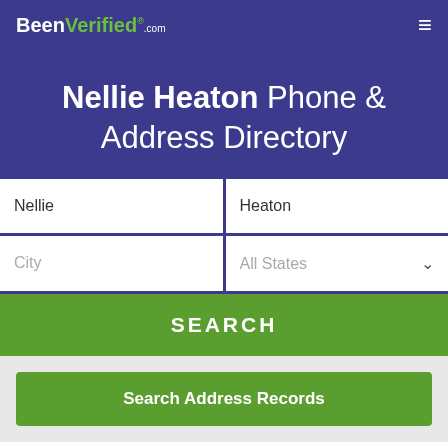BeenVerified.com
Nellie Heaton Phone & Address Directory
Nellie | Heaton
City | All States
SEARCH
Search Address Records